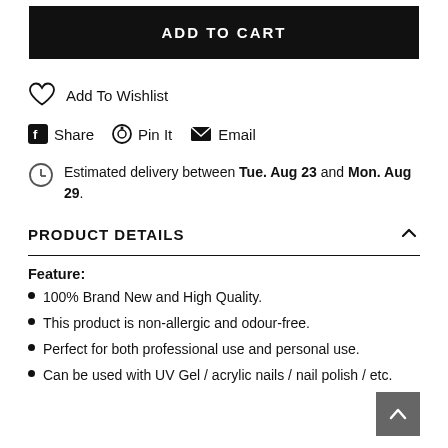ADD TO CART
Add To Wishlist
Share   Pin It   Email
Estimated delivery between Tue. Aug 23 and Mon. Aug 29.
PRODUCT DETAILS
Feature:
100% Brand New and High Quality.
This product is non-allergic and odour-free.
Perfect for both professional use and personal use.
Can be used with UV Gel / acrylic nails / nail polish / etc.